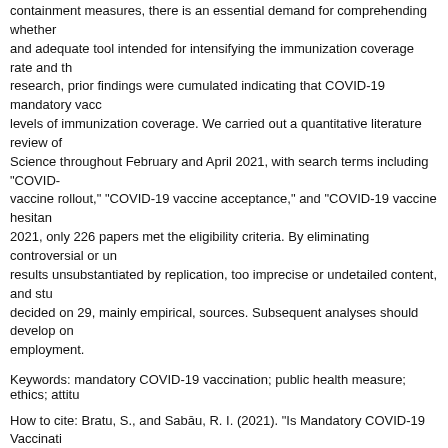containment measures, there is an essential demand for comprehending whether mandatory vaccination is a necessary and adequate tool intended for intensifying the immunization coverage rate and the uptake of vaccines. Advancing research, prior findings were cumulated indicating that COVID-19 mandatory vaccination policies can lead to higher levels of immunization coverage. We carried out a quantitative literature review of literature from PubMed and Web of Science throughout February and April 2021, with search terms including "COVID-19 mandatory vaccination," "COVID-19 vaccine rollout," "COVID-19 vaccine acceptance," and "COVID-19 vaccine hesitancy." Of the 1,189 papers identified in 2021, only 226 papers met the eligibility criteria. By eliminating controversial or unspecified results, primary studies with results unsubstantiated by replication, too imprecise or undetailed content, and studies of poor quality, we decided on 29, mainly empirical, sources. Subsequent analyses should develop on our results across sectors of employment.
Keywords: mandatory COVID-19 vaccination; public health measure; ethics; attitudes
How to cite: Bratu, S., and Sabāu, R. I. (2021). "Is Mandatory COVID-19 Vaccination Ethically Justifiable? Attitudes to and Adoption of Public Health Measures," Analysis and Metaphysics 20: 10.22381/am20202113.
Received 28 May 2021 • Received in revised form 18 December 2021
Accepted 26 December 2021 • Available online 30 December 2021
Authors' contacts
Sofia Bratu
sofiabratu@yahoo.com
Spiru Haret University, Bucharest, Romania
(corresponding author)
Romana Ioana Sabāu